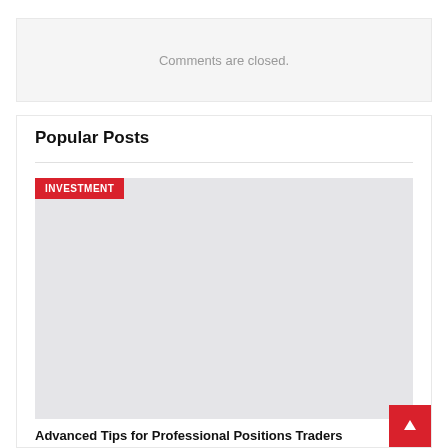Comments are closed.
Popular Posts
[Figure (photo): Placeholder image with INVESTMENT category tag in red]
Advanced Tips for Professional Positions Traders